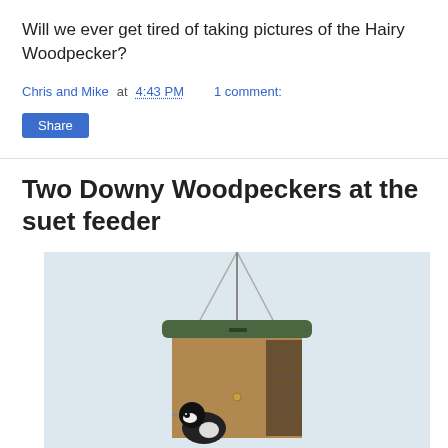Will we ever get tired of taking pictures of the Hairy Woodpecker?
Chris and Mike at 4:43 PM    1 comment:
Share
Two Downy Woodpeckers at the suet feeder
[Figure (photo): Photo of a suet feeder (wooden box feeder with green roof) hanging by wires, with a Downy Woodpecker clinging to the bottom, against a light grey/blue sky background.]